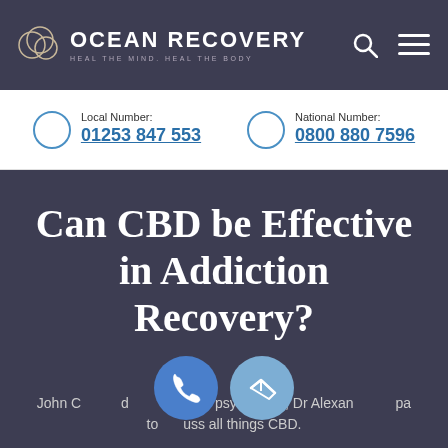OCEAN RECOVERY — HEAL THE MIND. HEAL THE BODY
Local Number: 01253 847 553
National Number: 0800 880 7596
Can CBD be Effective in Addiction Recovery?
John C... d... psychiatrist, Dr Alexander... pa to... uss all things CBD.